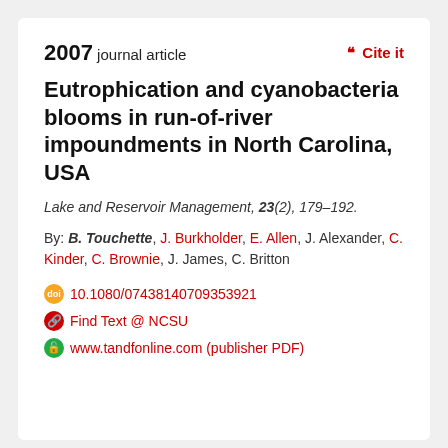2007 journal article
Eutrophication and cyanobacteria blooms in run-of-river impoundments in North Carolina, USA
Lake and Reservoir Management, 23(2), 179–192.
By: B. Touchette, J. Burkholder, E. Allen, J. Alexander, C. Kinder, C. Brownie, J. James, C. Britton
10.1080/07438140709353921
Find Text @ NCSU
www.tandfonline.com (publisher PDF)